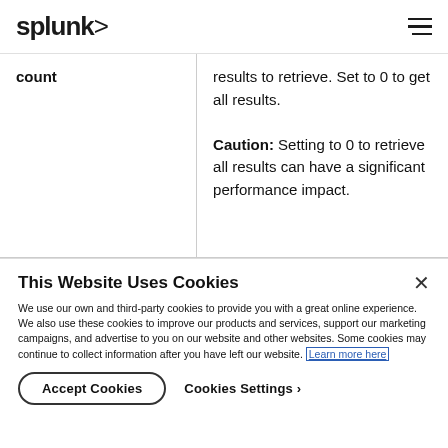splunk> [hamburger menu]
| count |  |
| --- | --- |
| count | results to retrieve. Set to 0 to get all results. Caution: Setting to 0 to retrieve all results can have a significant performance impact. |
This Website Uses Cookies
We use our own and third-party cookies to provide you with a great online experience. We also use these cookies to improve our products and services, support our marketing campaigns, and advertise to you on our website and other websites. Some cookies may continue to collect information after you have left our website. Learn more here
Accept Cookies
Cookies Settings ›